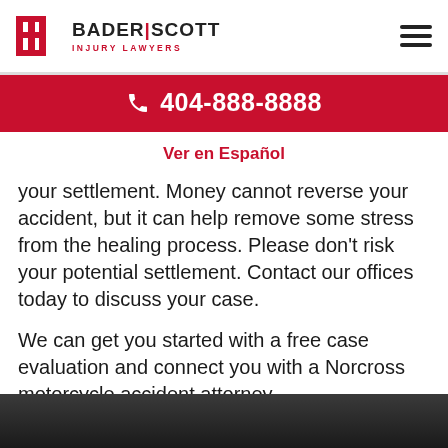Bader | Scott Injury Lawyers — 404-888-8888
Ver en Español
your settlement. Money cannot reverse your accident, but it can help remove some stress from the healing process. Please don't risk your potential settlement. Contact our offices today to discuss your case.
We can get you started with a free case evaluation and connect you with a Norcross motorcycle accident attorney.
[Figure (photo): Dark background image at bottom of page, likely a law office or vehicle scene]